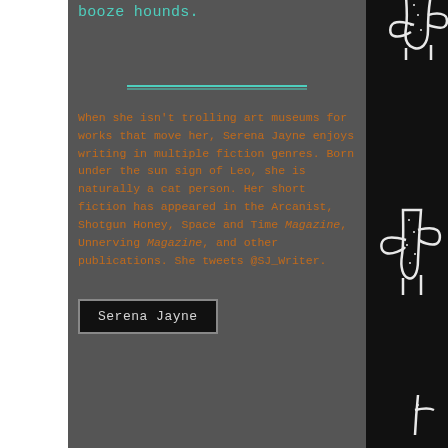booze hounds.
When she isn't trolling art museums for works that move her, Serena Jayne enjoys writing in multiple fiction genres. Born under the sun sign of Leo, she is naturally a cat person. Her short fiction has appeared in the Arcanist, Shotgun Honey, Space and Time Magazine, Unnerving Magazine, and other publications. She tweets @SJ_Writer.
Serena Jayne